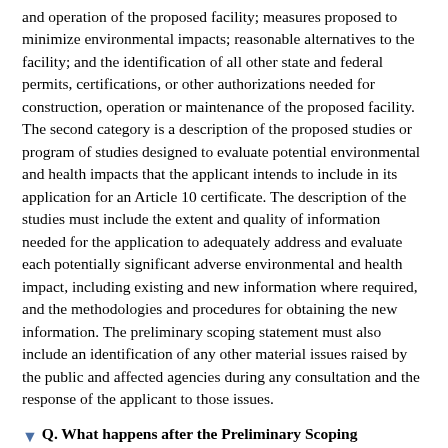and operation of the proposed facility; measures proposed to minimize environmental impacts; reasonable alternatives to the facility; and the identification of all other state and federal permits, certifications, or other authorizations needed for construction, operation or maintenance of the proposed facility. The second category is a description of the proposed studies or program of studies designed to evaluate potential environmental and health impacts that the applicant intends to include in its application for an Article 10 certificate. The description of the studies must include the extent and quality of information needed for the application to adequately address and evaluate each potentially significant adverse environmental and health impact, including existing and new information where required, and the methodologies and procedures for obtaining the new information. The preliminary scoping statement must also include an identification of any other material issues raised by the public and affected agencies during any consultation and the response of the applicant to those issues.
Q. What happens after the Preliminary Scoping Statement is filed?
A. Within 21 days after the filing of the preliminary scoping statement, any person, agency or municipality may submit comments on the preliminary scoping statement by serving such